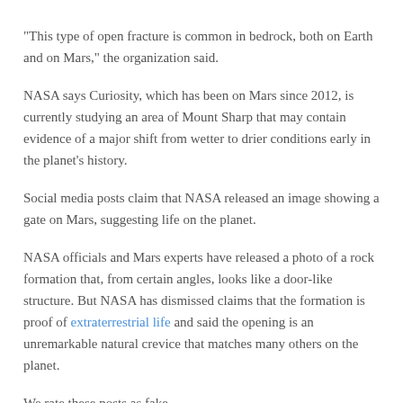“This type of open fracture is common in bedrock, both on Earth and on Mars,” the organization said.
NASA says Curiosity, which has been on Mars since 2012, is currently studying an area of Mount Sharp that may contain evidence of a major shift from wetter to drier conditions early in the planet’s history.
Social media posts claim that NASA released an image showing a gate on Mars, suggesting life on the planet.
NASA officials and Mars experts have released a photo of a rock formation that, from certain angles, looks like a door-like structure. But NASA has dismissed claims that the formation is proof of extraterrestrial life and said the opening is an unremarkable natural crevice that matches many others on the planet.
We rate these posts as fake.